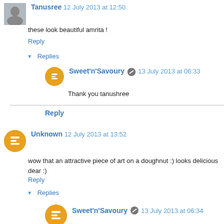Tanusree 12 July 2013 at 12:50
these look beautiful amrita !
Reply
▾ Replies
Sweet'n'Savoury [edit] 13 July 2013 at 06:33
Thank you tanushree
Reply
Unknown 12 July 2013 at 13:52
wow that an attractive piece of art on a doughnut :) looks delicious dear :)
Reply
▾ Replies
Sweet'n'Savoury [edit] 13 July 2013 at 06:34